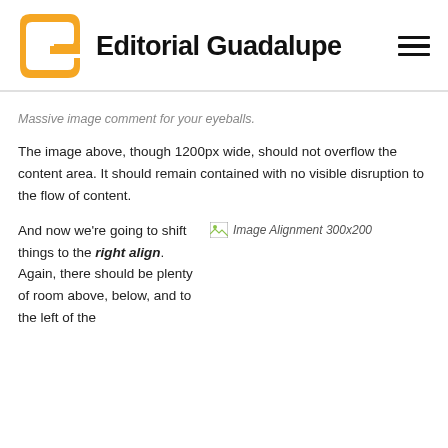[Figure (logo): Editorial Guadalupe logo: orange stylized letter G shape on the left, bold black text 'Editorial Guadalupe' on the right]
[Figure (other): Hamburger menu icon with three horizontal lines]
Massive image comment for your eyeballs.
The image above, though 1200px wide, should not overflow the content area. It should remain contained with no visible disruption to the flow of content.
And now we're going to shift things to the right align. Again, there should be plenty of room above, below, and to the left of the
[Figure (photo): Broken image placeholder labeled 'Image Alignment 300x200']